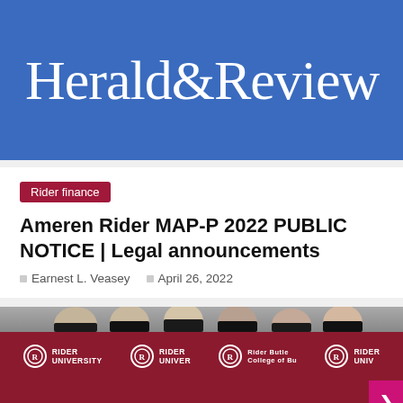[Figure (logo): Herald&Review newspaper masthead logo — white serif text on blue background]
Rider finance
Ameren Rider MAP-P 2022 PUBLIC NOTICE | Legal announcements
Earnest L. Veasey   April 26, 2022
[Figure (photo): Group photo of six students standing in front of a dark red Rider University backdrop/banner, wearing formal attire]